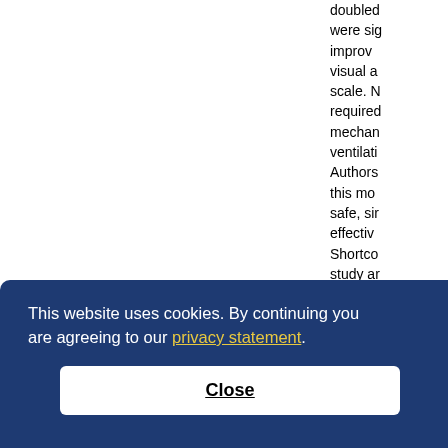doubled were significantly improved visual analogue scale. No required mechanical ventilation. Authors concluded this mode safe, simple, effective. Shortcomings: study and sample non-randomised
This website uses cookies. By continuing you are agreeing to our privacy statement.
Close
16 non-
intrapleural
Jadad
RCT n=